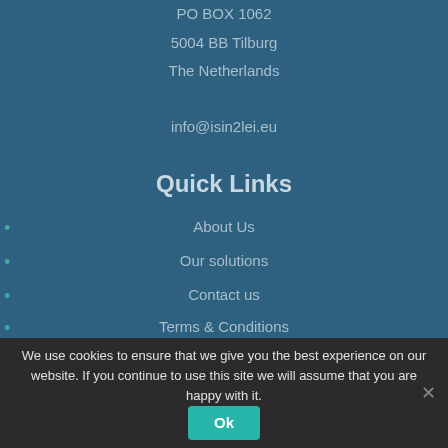PO BOX 1062
5004 BB Tilburg
The Netherlands
info@isin2lei.eu
Quick Links
About Us
Our solutions
Contact us
Terms & Conditions
We use cookies to ensure that we give you the best experience on our website. If you continue to use this site we will assume that you are happy with it.